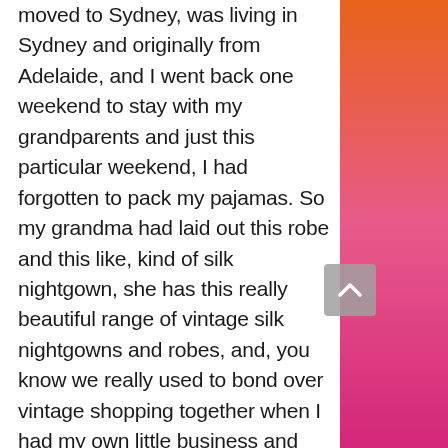moved to Sydney, was living in Sydney and originally from Adelaide, and I went back one weekend to stay with my grandparents and just this particular weekend, I had forgotten to pack my pajamas. So my grandma had laid out this robe and this like, kind of silk nightgown, she has this really beautiful range of vintage silk nightgowns and robes, and, you know we really used to bond over vintage shopping together when I had my own little business and stuff so she had laid this out for me to wear and um I was like kind of not sure on that usually you know more of a track is gal, but you know we'll give it a go and I ended up wearing it and it was just such a beautiful experience, it just felt so
[Figure (other): Orange to pink gradient decorative sidebar on the right side of the page, with a grey scroll-to-top button overlay]